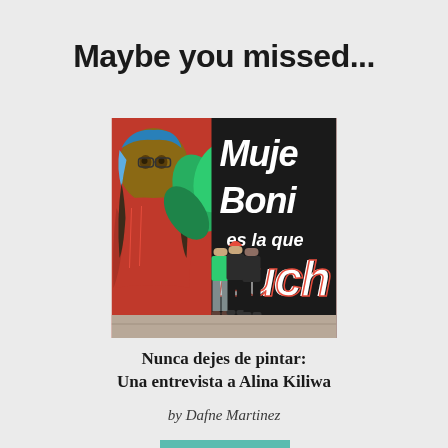Maybe you missed...
[Figure (photo): Three women standing in front of a large mural that reads 'Mujer Bonita es la que Lucha' with a painted woman figure on the left side]
Nunca dejes de pintar:
Una entrevista a Alina Kiliwa
by Dafne Martinez